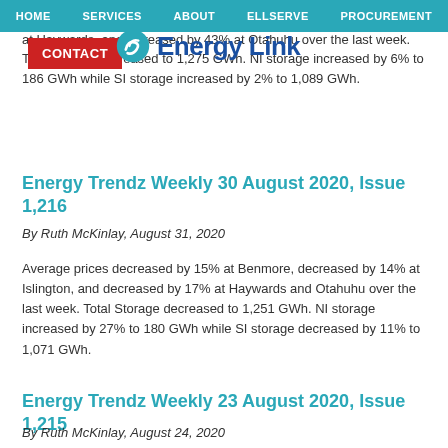HOME  SERVICES  ABOUT  ELLSERVE  PROCUREMENT
Average prices increased by 31% at Benmore, 49% at Islington, 50% at Haywards, and increased by 43% at Otahuhu over the last week. Total Storage increased to 1,275 GWh. NI storage increased by 6% to 186 GWh while SI storage increased by 2% to 1,089 GWh.
Energy Trendz Weekly 30 August 2020, Issue 1,216
By Ruth McKinlay, August 31, 2020
Average prices decreased by 15% at Benmore, decreased by 14% at Islington, and decreased by 17% at Haywards and Otahuhu over the last week. Total Storage decreased to 1,251 GWh. NI storage increased by 27% to 180 GWh while SI storage decreased by 11% to 1,071 GWh.
Energy Trendz Weekly 23 August 2020, Issue 1,215
By Ruth McKinlay, August 24, 2020